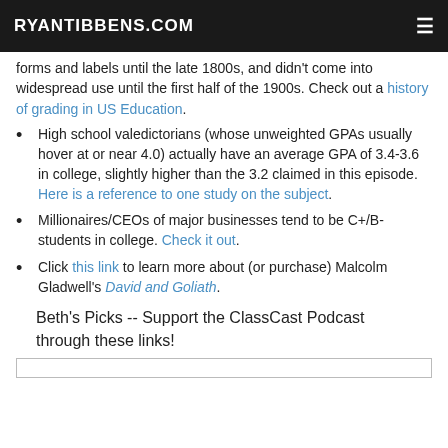RYANTIBBENS.COM
forms and labels until the late 1800s, and didn't come into widespread use until the first half of the 1900s. Check out a history of grading in US Education.
High school valedictorians (whose unweighted GPAs usually hover at or near 4.0) actually have an average GPA of 3.4-3.6 in college, slightly higher than the 3.2 claimed in this episode. Here is a reference to one study on the subject.
Millionaires/CEOs of major businesses tend to be C+/B- students in college. Check it out.
Click this link to learn more about (or purchase) Malcolm Gladwell's David and Goliath.
Beth's Picks -- Support the ClassCast Podcast through these links!